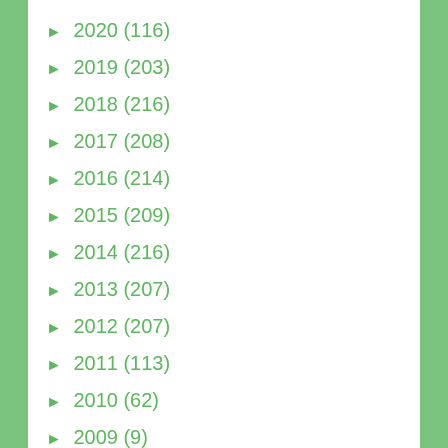► 2020 (116)
► 2019 (203)
► 2018 (216)
► 2017 (208)
► 2016 (214)
► 2015 (209)
► 2014 (216)
► 2013 (207)
► 2012 (207)
► 2011 (113)
► 2010 (62)
► 2009 (9)
Access Request  Active Directory